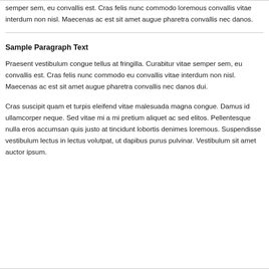semper sem, eu convallis est. Cras felis nunc commodo loremous convallis vitae interdum non nisl. Maecenas ac est sit amet augue pharetra convallis nec danos.
Sample Paragraph Text
Praesent vestibulum congue tellus at fringilla. Curabitur vitae semper sem, eu convallis est. Cras felis nunc commodo eu convallis vitae interdum non nisl. Maecenas ac est sit amet augue pharetra convallis nec danos dui.
Cras suscipit quam et turpis eleifend vitae malesuada magna congue. Damus id ullamcorper neque. Sed vitae mi a mi pretium aliquet ac sed elitos. Pellentesque nulla eros accumsan quis justo at tincidunt lobortis denimes loremous. Suspendisse vestibulum lectus in lectus volutpat, ut dapibus purus pulvinar. Vestibulum sit amet auctor ipsum.